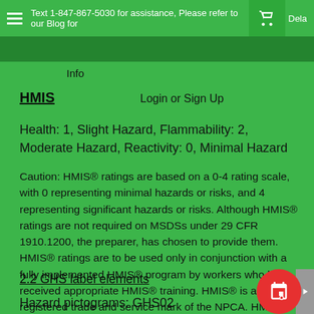Text 1-847-867-5030 for assistance. Please refer to our Blog for... Dela
Info
HMIS
Login or Sign Up
Health: 1, Slight Hazard, Flammability: 2, Moderate Hazard, Reactivity: 0, Minimal Hazard
Caution: HMIS® ratings are based on a 0-4 rating scale, with 0 representing minimal hazards or risks, and 4 representing significant hazards or risks. Although HMIS® ratings are not required on MSDSs under 29 CFR 1910.1200, the preparer, has chosen to provide them. HMIS® ratings are to be used only in conjunction with a fully implemented HMIS® program by workers who have received appropriate HMIS® training. HMIS® is a registered trade and service mark of the NPCA. HMIS® materials may be purchased exclusively from J. J. Keller (800) 327-6868
2.2 GHS label elements
Hazard pictograms: GHS02